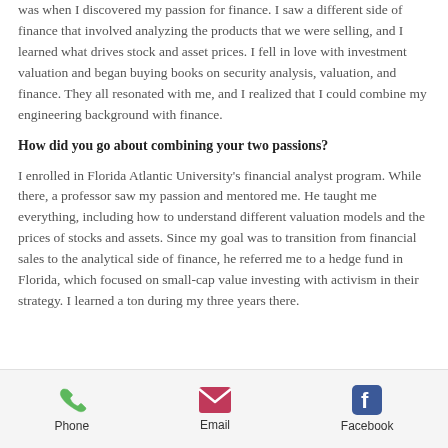was when I discovered my passion for finance. I saw a different side of finance that involved analyzing the products that we were selling, and I learned what drives stock and asset prices. I fell in love with investment valuation and began buying books on security analysis, valuation, and finance. They all resonated with me, and I realized that I could combine my engineering background with finance.
How did you go about combining your two passions?
I enrolled in Florida Atlantic University's financial analyst program. While there, a professor saw my passion and mentored me. He taught me everything, including how to understand different valuation models and the prices of stocks and assets. Since my goal was to transition from financial sales to the analytical side of finance, he referred me to a hedge fund in Florida, which focused on small-cap value investing with activism in their strategy. I learned a ton during my three years there.
[Figure (infographic): Footer bar with three icons: Phone (green phone icon), Email (pink/magenta envelope icon), Facebook (blue Facebook icon), each with a text label below.]